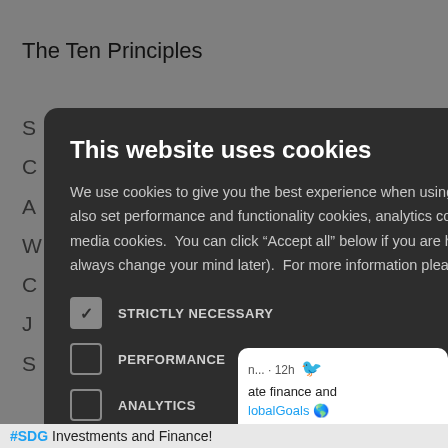The Ten Principles
[Figure (screenshot): Cookie consent modal dialog on a dark background overlay. The modal has title 'This website uses cookies', descriptive text about cookie usage, and checkboxes for: STRICTLY NECESSARY (checked), PERFORMANCE, ANALYTICS, FUNCTIONALITY, SOCIAL MEDIA. A close X button is in the top right. Behind the modal is a webpage showing 'The Ten Principles' heading with partial list items and a Twitter follow button/snippet on the right.]
This website uses cookies
We use cookies to give you the best experience when using our website.  With your permission, we also set performance and functionality cookies, analytics cookies, advertising cookies and social media cookies.  You can click "Accept all" below if you are happy for us to place cookies (you can always change your mind later).  For more information please see our Cookie Policy
STRICTLY NECESSARY
PERFORMANCE
ANALYTICS
FUNCTIONALITY
SOCIAL MEDIA
n... · 12h  ate finance and  lobalGoals 🌍  ntegrated
#SDG Investments and Finance!